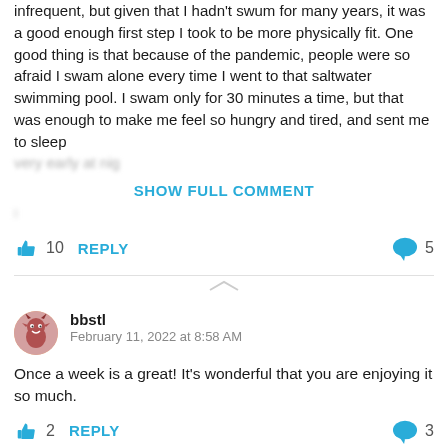infrequent, but given that I hadn't swum for many years, it was a good enough first step I took to be more physically fit. One good thing is that because of the pandemic, people were so afraid I swam alone every time I went to that saltwater swimming pool. I swam only for 30 minutes a time, but that was enough to make me feel so hungry and tired, and sent me to sleep
very early at nig
SHOW FULL COMMENT
10   REPLY   5
bbstl
February 11, 2022 at 8:58 AM
Once a week is a great! It's wonderful that you are enjoying it so much.
2   REPLY   3